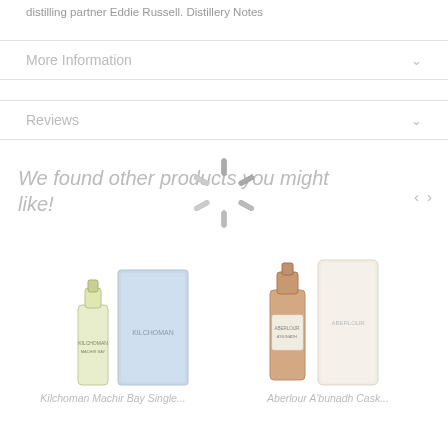distilling partner Eddie Russell. Distillery Notes
More Information
Reviews
We found other products you might like!
[Figure (other): Loading spinner (starburst/throbber icon) overlaid on the page content]
[Figure (photo): Kilchoman Machir Bay Single Malt Scotch Whisky bottle with pale blue box packaging]
[Figure (photo): Aberlour A'bunadh Cask Strength whisky bottle with white cylindrical tube packaging]
Kilchoman Machir Bay Single...
Aberlour A'bunadh Cask...